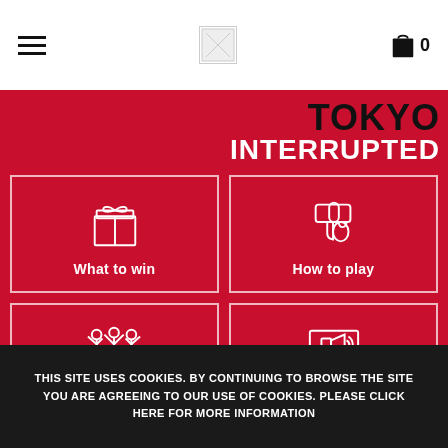[Figure (screenshot): Navigation header with hamburger menu, logo placeholder, and shopping cart icon with count 0]
TOKYO INTERRUPTED
[Figure (infographic): Four red cards with white icons and labels: What to win (gift box icon), How to play (hand pointing icon), The athletes (group of people icon), The campaign (megaphone on screen icon)]
THIS SITE USES COOKIES. BY CONTINUING TO BROWSE THE SITE YOU ARE AGREEING TO OUR USE OF COOKIES. PLEASE CLICK HERE FOR MORE INFORMATION